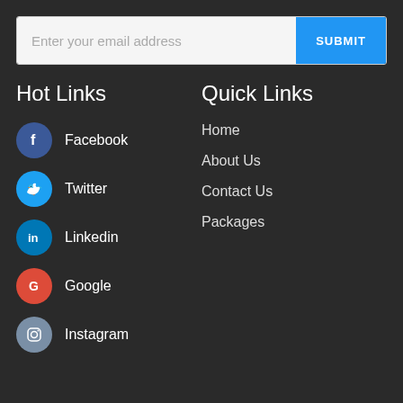Enter your email address | SUBMIT
Hot Links
Facebook
Twitter
Linkedin
Google
Instagram
Quick Links
Home
About Us
Contact Us
Packages
Copyright 2021 © Usedbooks.lk All Rights Reserved.